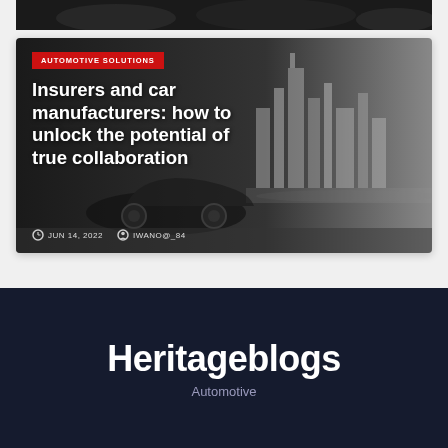[Figure (photo): Dark automotive image strip at top of page showing engine or car parts in monochrome]
[Figure (photo): Article card with dark monochrome background showing a futuristic electric car and city skyline silhouette]
AUTOMOTIVE SOLUTIONS
Insurers and car manufacturers: how to unlock the potential of true collaboration
JUN 14, 2022   IWANO@_84
Heritageblogs
Automotive